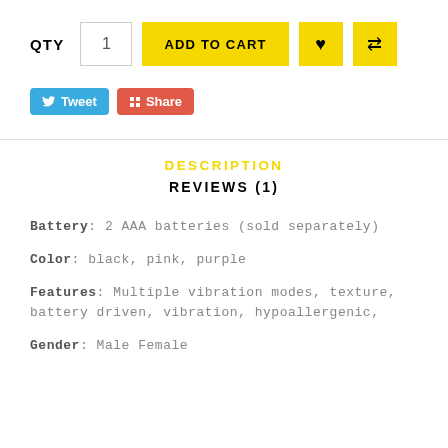QTY  1  ADD TO CART  ♥  ⇄
[Figure (screenshot): Tweet and Share social buttons]
DESCRIPTION
REVIEWS (1)
Battery: 2 AAA batteries (sold separately)
Color: black, pink, purple
Features: Multiple vibration modes, texture, battery driven, vibration, hypoallergenic,
Gender: Male Female